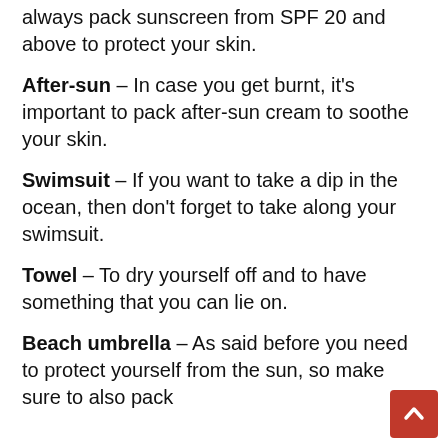always pack sunscreen from SPF 20 and above to protect your skin.
After-sun – In case you get burnt, it's important to pack after-sun cream to soothe your skin.
Swimsuit – If you want to take a dip in the ocean, then don't forget to take along your swimsuit.
Towel – To dry yourself off and to have something that you can lie on.
Beach umbrella – As said before you need to protect yourself from the sun, so make sure to also pack